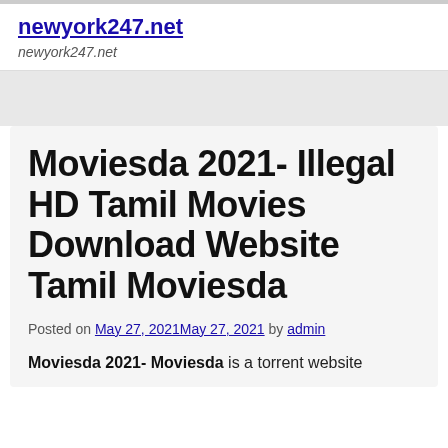newyork247.net
newyork247.net
Moviesda 2021- Illegal HD Tamil Movies Download Website Tamil Moviesda
Posted on May 27, 2021May 27, 2021 by admin
Moviesda 2021- Moviesda is a torrent website